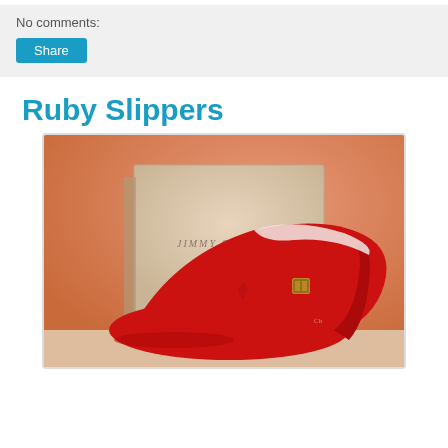No comments:
Share
Ruby Slippers
[Figure (photo): Red Jimmy Choo high heel Mary Jane pump shoe with ankle strap and gold buckle, displayed against a peach/orange background with a Jimmy Choo shoebox behind it.]